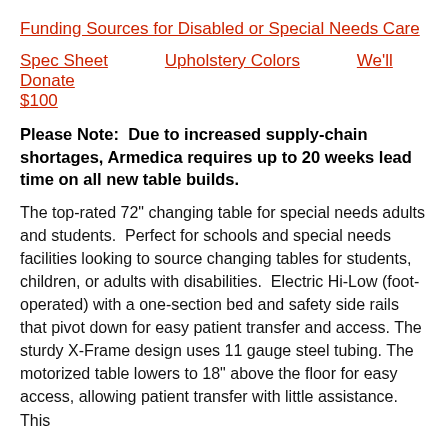Funding Sources for Disabled or Special Needs Care
Spec Sheet   Upholstery Colors   We'll Donate $100
Please Note:  Due to increased supply-chain shortages, Armedica requires up to 20 weeks lead time on all new table builds.
The top-rated 72" changing table for special needs adults and students.  Perfect for schools and special needs facilities looking to source changing tables for students, children, or adults with disabilities.  Electric Hi-Low (foot-operated) with a one-section bed and safety side rails that pivot down for easy patient transfer and access. The sturdy X-Frame design uses 11 gauge steel tubing. The motorized table lowers to 18" above the floor for easy access, allowing patient transfer with little assistance.  This